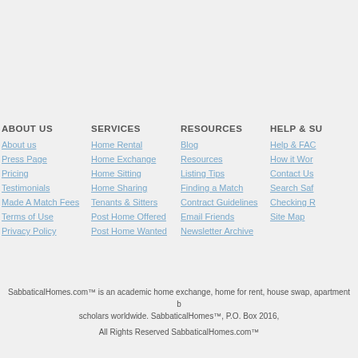ABOUT US
About us
Press Page
Pricing
Testimonials
Made A Match Fees
Terms of Use
Privacy Policy
SERVICES
Home Rental
Home Exchange
Home Sitting
Home Sharing
Tenants & Sitters
Post Home Offered
Post Home Wanted
RESOURCES
Blog
Resources
Listing Tips
Finding a Match
Contract Guidelines
Email Friends
Newsletter Archive
HELP & SU
Help & FAC
How it Wor
Contact Us
Search Saf
Checking R
Site Map
SabbaticalHomes.com™ is an academic home exchange, home for rent, house swap, apartment b scholars worldwide. SabbaticalHomes™, P.O. Box 2016,
All Rights Reserved SabbaticalHomes.com™